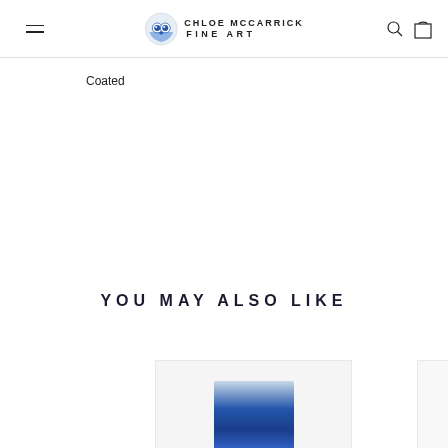CHLOE MCCARRICK FINE ART
Coated
YOU MAY ALSO LIKE
[Figure (photo): Partial view of a blue artwork/print product thumbnail]